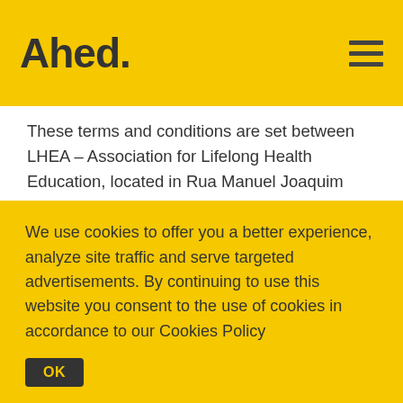Ahed.
These terms and conditions are set between LHEA – Association for Lifelong Health Education, located in Rua Manuel Joaquim Avelar, 118, Floor 2, 2750-421 Cascais, with fiscal number 515 467 626 and phone number +351 911 191 954, and owner on Ahed – Advanced Health Education, aimed at providing to health professionals post-graduate educational programmes in health, from now on called Ahed, and all those who wish to buy services through the website, www.ahed.pt, from now on Clients
We use cookies to offer you a better experience, analyze site traffic and serve targeted advertisements. By continuing to use this website you consent to the use of cookies in accordance to our Cookies Policy
OK